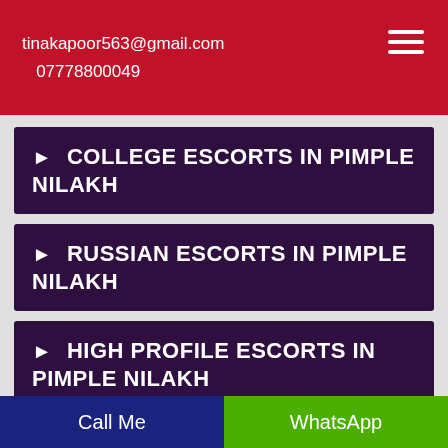tinakapoor563@gmail.com
07778800049
▶ COLLEGE ESCORTS IN PIMPLE NILAKH
▶ RUSSIAN ESCORTS IN PIMPLE NILAKH
▶ HIGH PROFILE ESCORTS IN PIMPLE NILAKH
▶ HIGH PROFILE CALL GIRLS IN PIMPLE NILAKH
Call Me   WhatsApp